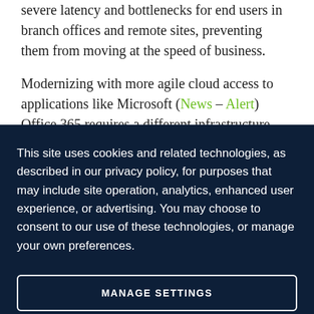severe latency and bottlenecks for end users in branch offices and remote sites, preventing them from moving at the speed of business.
Modernizing with more agile cloud access to applications like Microsoft (News – Alert) Office 365 requires a different infrastructure. One where
This site uses cookies and related technologies, as described in our privacy policy, for purposes that may include site operation, analytics, enhanced user experience, or advertising. You may choose to consent to our use of these technologies, or manage your own preferences.
MANAGE SETTINGS
ACCEPT
DECLINE ALL